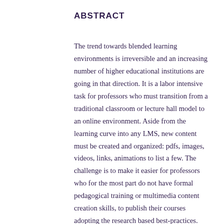ABSTRACT
The trend towards blended learning environments is irreversible and an increasing number of higher educational institutions are going in that direction. It is a labor intensive task for professors who must transition from a traditional classroom or lecture hall model to an online environment. Aside from the learning curve into any LMS, new content must be created and organized: pdfs, images, videos, links, animations to list a few. The challenge is to make it easier for professors who for the most part do not have formal pedagogical training or multimedia content creation skills, to publish their courses adopting the research based best-practices.